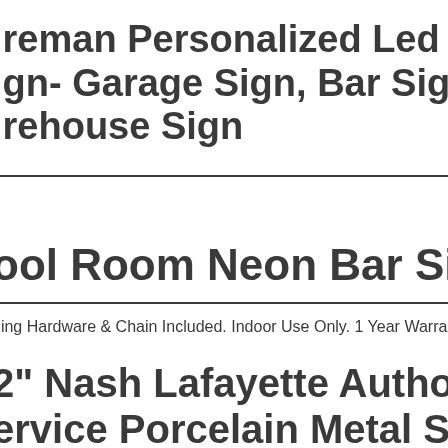Fireman Personalized Led Man Cave Sign- Garage Sign, Bar Sign, Firehouse Sign
Pool Room Neon Bar Sign
Hanging Hardware & Chain Included. Indoor Use Only. 1 Year Warranty.
12" Nash Lafayette Authorized Service Porcelain Metal Sign Gas O